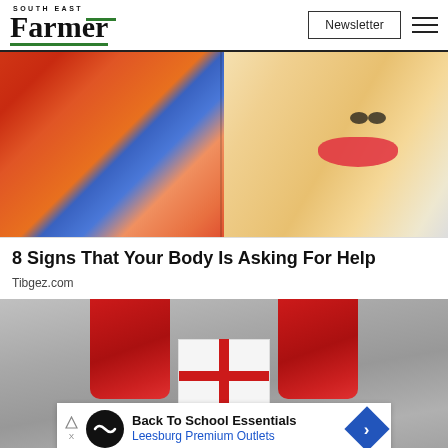South East Farmer | Newsletter
[Figure (illustration): Illustration showing two women: left side shows a cartoon woman with red hair in orange and blue clothing; right side shows a realistic-style illustration of a woman's face/neck with a magnifying glass showing dry/cracked skin texture.]
8 Signs That Your Body Is Asking For Help
Tibgez.com
[Figure (photo): Photo of Santa Claus gloved hands holding a wrapped white gift box with red ribbon, on a gray wooden surface with snow effect. An advertisement banner overlays the bottom: 'Back To School Essentials' from 'Leesburg Premium Outlets'.]